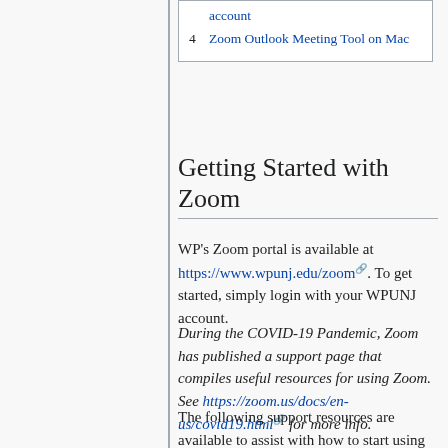account
4  Zoom Outlook Meeting Tool on Mac
Getting Started with Zoom
WP's Zoom portal is available at https://www.wpunj.edu/zoom. To get started, simply login with your WPUNJ account.
During the COVID-19 Pandemic, Zoom has published a support page that compiles useful resources for using Zoom. See https://zoom.us/docs/en-us/covid19.html for more info.
The following support resources are available to assist with how to start using Zoom:
Zoom's Top 20 Zoom Resources article (which includes all of